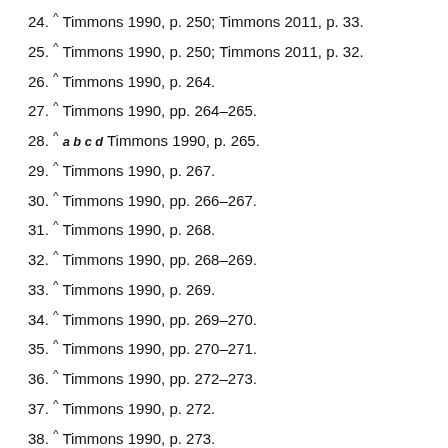24. ^ Timmons 1990, p. 250; Timmons 2011, p. 33.
25. ^ Timmons 1990, p. 250; Timmons 2011, p. 32.
26. ^ Timmons 1990, p. 264.
27. ^ Timmons 1990, pp. 264–265.
28. ^ a b c d Timmons 1990, p. 265.
29. ^ Timmons 1990, p. 267.
30. ^ Timmons 1990, pp. 266–267.
31. ^ Timmons 1990, p. 268.
32. ^ Timmons 1990, pp. 268–269.
33. ^ Timmons 1990, p. 269.
34. ^ Timmons 1990, pp. 269–270.
35. ^ Timmons 1990, pp. 270–271.
36. ^ Timmons 1990, pp. 272–273.
37. ^ Timmons 1990, p. 272.
38. ^ Timmons 1990, p. 273.
39. ^ Timmons 1990, pp. 273–275.